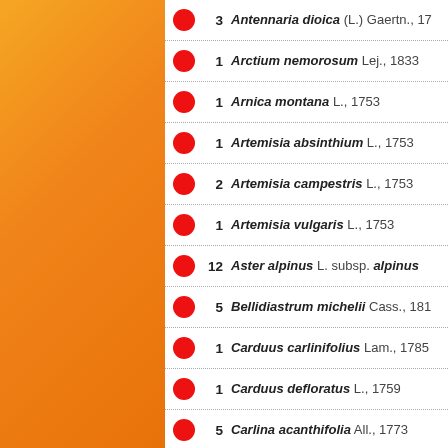3 Antennaria dioica (L.) Gaertn., 17...
1 Arctium nemorosum Lej., 1833
1 Arnica montana L., 1753
1 Artemisia absinthium L., 1753
2 Artemisia campestris L., 1753
1 Artemisia vulgaris L., 1753
12 Aster alpinus L. subsp. alpinus
5 Bellidiastrum michelii Cass., 181...
1 Carduus carlinifolius Lam., 1785...
1 Carduus defloratus L., 1759
5 Carlina acanthifolia All., 1773
1 Carlina vulgaris L., 1753